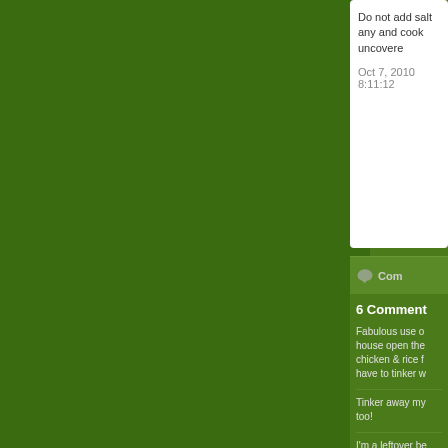Do not add salt any and cook uncovere
Oct 7, 2010 8:11:12
Com
6 Comment
Fabulous use o house open the chicken & rice f have to tinker w
Tinker away my too!
I'm a leftover be
Great rice...